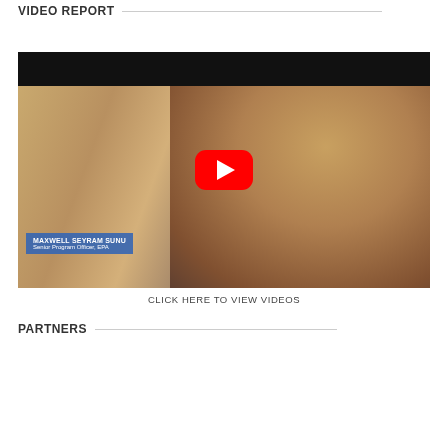VIDEO REPORT
[Figure (screenshot): YouTube video thumbnail showing Maxwell Seyram Sunu, Senior Program Officer, EPA, with a YouTube play button overlay. Lower-left caption reads 'MAXWELL SEYRAM SUNU / Senior Program Officer, EPA'.]
CLICK HERE TO VIEW VIDEOS
PARTNERS